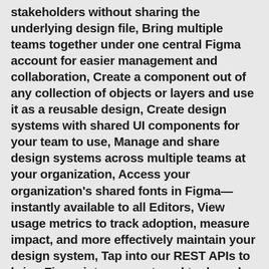stakeholders without sharing the underlying design file, Bring multiple teams together under one central Figma account for easier management and collaboration, Create a component out of any collection of objects or layers and use it as a reusable design, Create design systems with shared UI components for your team to use, Manage and share design systems across multiple teams at your organization, Access your organization's shared fonts in Figma—instantly available to all Editors, View usage metrics to track adoption, measure impact, and more effectively maintain your design system, Tap into our REST APIs to bring Figma into your external tools and products, Figma integrates with tools, like JIRA, Zeplin, Dropbox, Slack, and more, Embed live Figma designs and prototypes wherever you need them, Build your own private plugin for your team or organization to use, Manage which plugins your organization has access to and install plugins on your users behalf, Bring multiple teams together under one central Figma account; manage users and billing in one place, Automatically add anyone with a verified email address to your Figma account, Limit the ability to share files via a link outside your organization, ensuring no one can view files unless